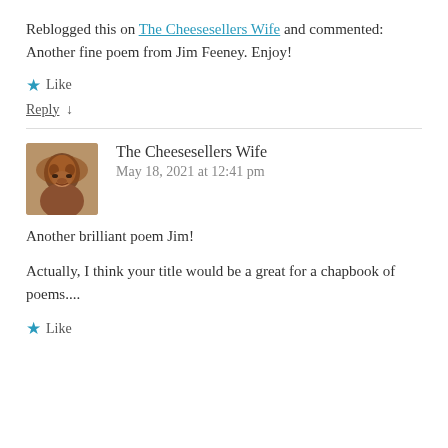Reblogged this on The Cheesesellers Wife and commented: Another fine poem from Jim Feeney. Enjoy!
★ Like
Reply ↓
The Cheesesellers Wife
May 18, 2021 at 12:41 pm
Another brilliant poem Jim!
Actually, I think your title would be a great for a chapbook of poems....
★ Like